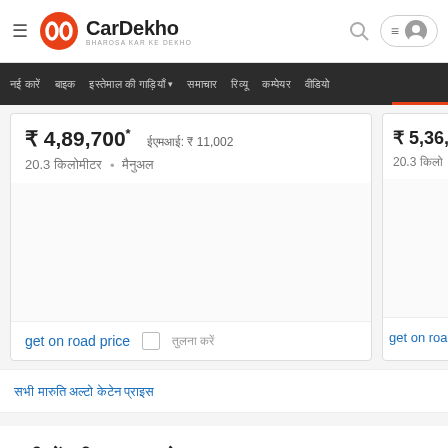CarDekho - BHAROSA KAR KE DEKHO
₹ 4,89,700* | ईएमआई: ₹ 11,002 | 20.3 किलोमीटर • मैनुअल
get on road price | तुलना करें
₹ 5,36,200* | 20.3 किलोमीटर • मैन
get on road price
सभी मारुति अल्टो केटेन प्राइस
फ्रीक्वेंटली आस्कड क्वेश्चन्स